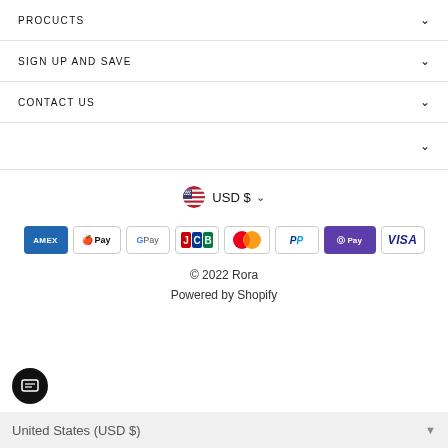PROCUCTS
SIGN UP AND SAVE
CONTACT US
[Figure (infographic): Currency selector showing US flag icon, USD $ text and chevron dropdown]
[Figure (infographic): Payment method badges: American Express, Apple Pay, Google Pay, JCB, Mastercard, PayPal, Shop Pay, Visa]
© 2022 Rora
Powered by Shopify
United States (USD $)